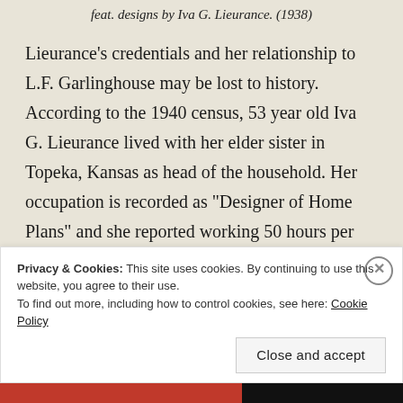feat. designs by Iva G. Lieurance. (1938)
Lieurance’s credentials and her relationship to L.F. Garlinghouse may be lost to history. According to the 1940 census, 53 year old Iva G. Lieurance lived with her elder sister in Topeka, Kansas as head of the household. Her occupation is recorded as “Designer of Home Plans” and she reported working 50 hours per week. The census worker recorded 8th grade as the highest level of education she had
Privacy & Cookies: This site uses cookies. By continuing to use this website, you agree to their use.
To find out more, including how to control cookies, see here: Cookie Policy
Close and accept